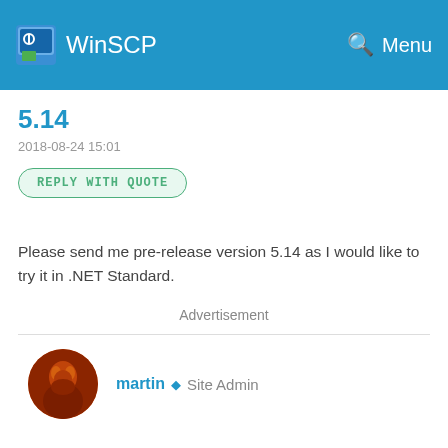WinSCP  Menu
5.14
2018-08-24 15:01
REPLY WITH QUOTE
Please send me pre-release version 5.14 as I would like to try it in .NET Standard.
Advertisement
martin◆ Site Admin